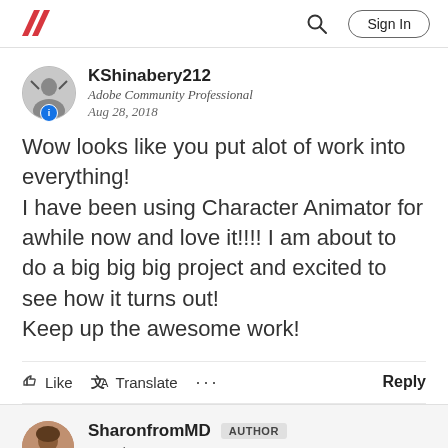Adobe Community — Sign In
KShinabery212
Adobe Community Professional
Aug 28, 2018
Wow looks like you put alot of work into everything!
I have been using Character Animator for awhile now and love it!!!! I am about to do a big big big project and excited to see how it turns out!
Keep up the awesome work!
Like   Translate   ...   Reply
SharonfromMD   AUTHOR
Contributor